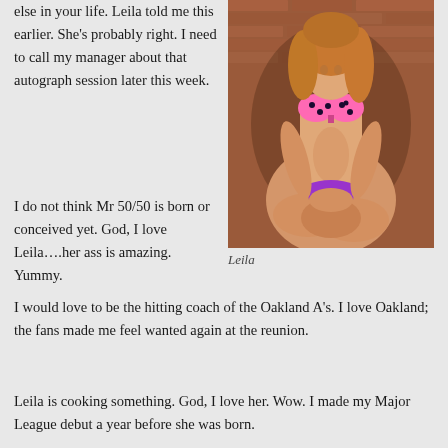else in your life. Leila told me this earlier. She’s probably right. I need to call my manager about that autograph session later this week.
[Figure (photo): Woman in pink polka-dot bikini sitting cross-legged against a brick wall background]
Leila
I do not think Mr 50/50 is born or conceived yet. God, I love Leila….her ass is amazing. Yummy.
I would love to be the hitting coach of the Oakland A’s. I love Oakland; the fans made me feel wanted again at the reunion.
Leila is cooking something. God, I love her. Wow. I made my Major League debut a year before she was born.